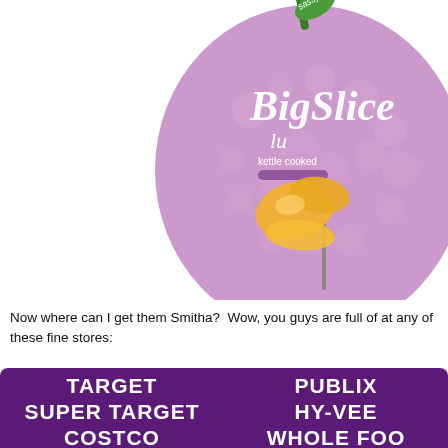[Figure (photo): BigSlice brand kettle cooked fruit product packaging — a purple apple-shaped container with 'sassy' text at top, 'BigSlice' logo in white cursive, 'lu' and 'kettle cooked' text partially visible, with yellow/orange candied fruit pieces on a fork in the foreground]
Now where can I get them Smitha?  Wow, you guys are full of at any of these fine stores:
TARGET   PUBLIX
SUPER TARGET   HY-VEE
COSTCO   WHOLE FOO